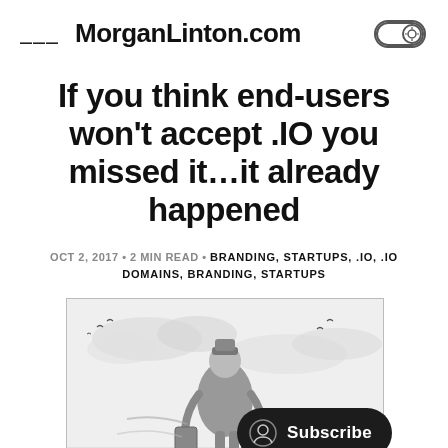MorganLinton.com
If you think end-users won't accept .IO you missed it...it already happened
OCT 2, 2017 • 2 MIN READ • BRANDING, STARTUPS, .IO, .IO DOMAINS, BRANDING, STARTUPS
[Figure (illustration): Pencil sketch illustration of a person with luggage viewed from behind, looking out at a cloudy sky with birds]